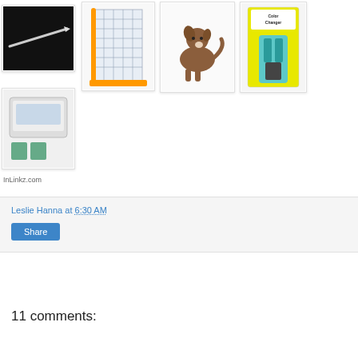[Figure (photo): Image card 1: knife/blade on black background]
[Figure (photo): Image card 2: orange paper trimmer/cutter with grid]
[Figure (photo): Image card 3: brown dog/cat cartoon cutout on white]
[Figure (photo): Image card 4: Color Changer tool in yellow packaging]
[Figure (photo): Image card 5: craft cutting machine product on white background]
InLinkz.com
Leslie Hanna at 6:30 AM
Share
11 comments: